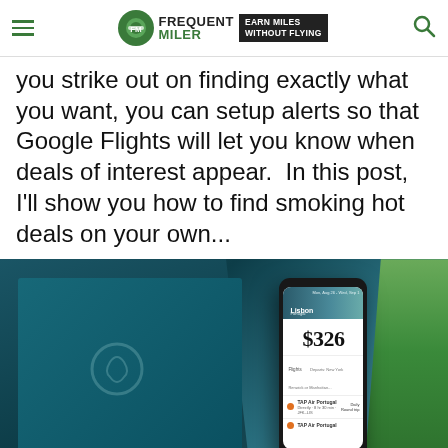Frequent Miler — Earn Miles Without Flying
you strike out on finding exactly what you want, you can setup alerts so that Google Flights will let you know when deals of interest appear. In this post, I'll show you how to find smoking hot deals on your own...
[Figure (photo): A smartphone displaying a Google Flights search result showing a $326 fare to Lisbon, Portugal. The phone is held in a hand in front of a laptop with a teal/dark screen, with green plant leaves visible in the background. The phone screen shows $326 price for a flight to Lisbon, Portugal, with airline rows for TAP Air Portugal.]